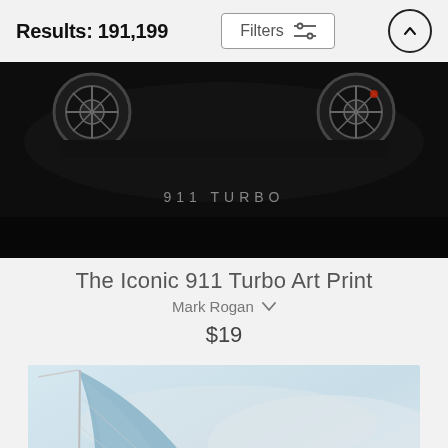Results: 191,199
[Figure (screenshot): Dark background car photo showing rear wheels of a Porsche 911 Turbo with text '911 TURBO' in the center]
The Iconic 911 Turbo Art Print
Mark Rogan
$19
[Figure (photo): Partial view of a sailboat sail against a light blue and grey sky background]